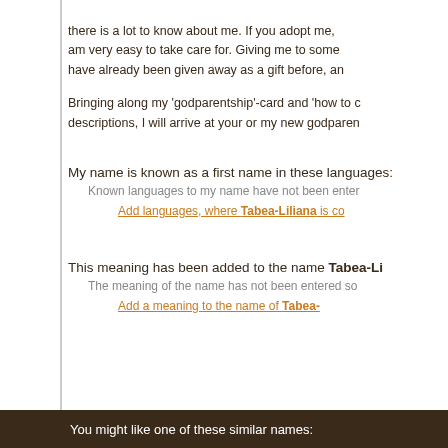there is a lot to know about me. If you adopt me, I am very easy to take care for. Giving me to some have already been given away as a gift before, an
Bringing along my 'godparentship'-card and 'how to c descriptions, I will arrive at your or my new godparen
My name is known as a first name in these languages:
Known languages to my name have not been enter
Add languages, where Tabea-Liliana is co
This meaning has been added to the name Tabea-Li
The meaning of the name has not been entered so
Add a meaning to the name of Tabea-
You might like one of these similar names: